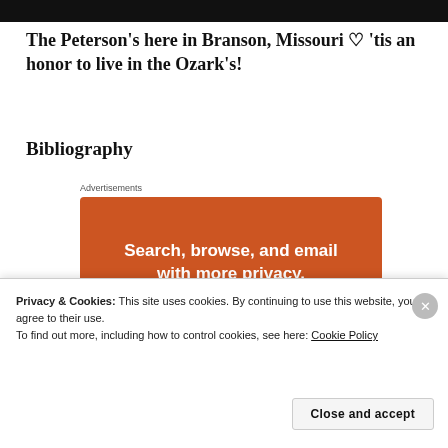[Figure (other): Black top bar decorative element]
The Peterson’s here in Branson, Missouri ♡ ‘tis an honor to live in the Ozark’s!
Bibliography
Advertisements
[Figure (infographic): Orange advertisement banner reading 'Search, browse, and email with more privacy. All in One Free App' with a phone image at the bottom.]
Privacy & Cookies: This site uses cookies. By continuing to use this website, you agree to their use.
To find out more, including how to control cookies, see here: Cookie Policy
Close and accept